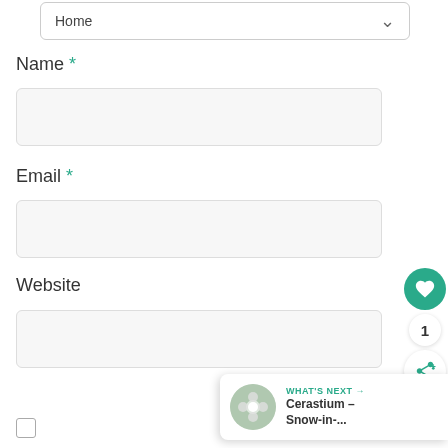[Figure (screenshot): Home dropdown selector with chevron arrow]
Name *
[Figure (screenshot): Name input text field (empty, light gray background)]
Email *
[Figure (screenshot): Email input text field (empty, light gray background)]
[Figure (screenshot): Heart/like button (teal circle with heart icon), count '1', share button]
Website
[Figure (screenshot): Website input text field (empty, light gray background)]
[Figure (screenshot): What's Next panel: Cerastium – Snow-in-... with flower thumbnail]
[Figure (screenshot): Checkbox (unchecked)]